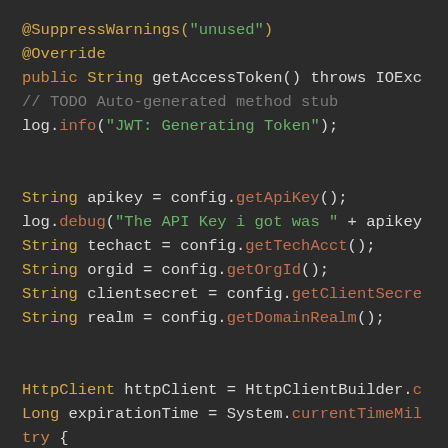[Figure (screenshot): Java source code screenshot on a dark background showing a getAccessToken() method implementation with annotations, variable declarations, and method calls including logging, config retrieval, HttpClient creation, and ResourceResolver usage.]